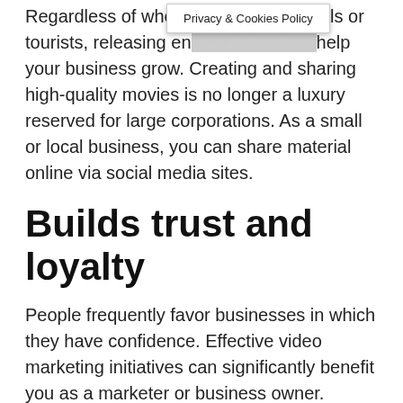Regardless of whether ... locals or tourists, releasing en[gaging videos c]an help your business grow. Creating and sharing high-quality movies is no longer a luxury reserved for large corporations. As a small or local business, you can share material online via social media sites.
[Figure (screenshot): Privacy & Cookies Policy banner overlay]
Builds trust and loyalty
People frequently favor businesses in which they have confidence. Effective video marketing initiatives can significantly benefit you as a marketer or business owner. People may easily connect with a brand through films, which influences their decision to purchase or use the products or services.
D...